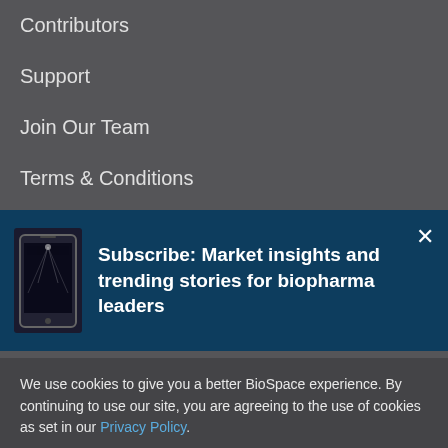Contributors
Support
Join Our Team
Terms & Conditions
Privacy Policy
[Figure (infographic): Subscribe banner with phone image: 'Subscribe: Market insights and trending stories for biopharma leaders']
We use cookies to give you a better BioSpace experience. By continuing to use our site, you are agreeing to the use of cookies as set in our Privacy Policy.
Accept